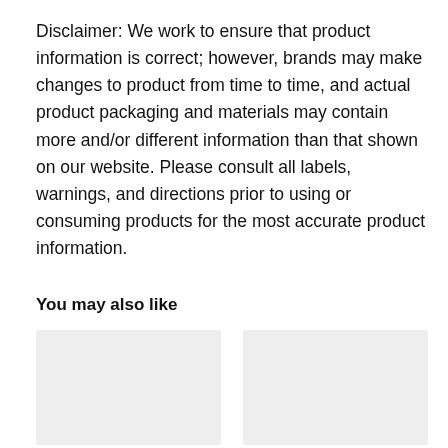Disclaimer: We work to ensure that product information is correct; however, brands may make changes to product from time to time, and actual product packaging and materials may contain more and/or different information than that shown on our website. Please consult all labels, warnings, and directions prior to using or consuming products for the most accurate product information.
You may also like
[Figure (other): Two gray placeholder product image boxes side by side]